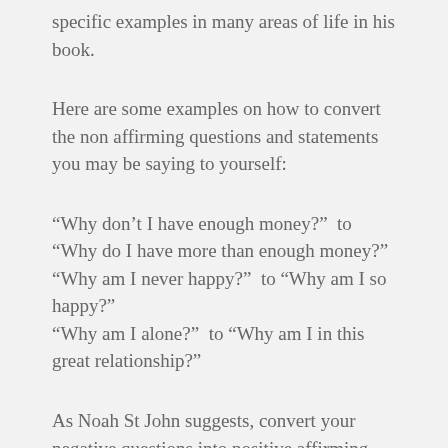specific examples in many areas of life in his book.
Here are some examples on how to convert the non affirming questions and statements you may be saying to yourself:
“Why don’t I have enough money?”  to “Why do I have more than enough money?” “Why am I never happy?”  to “Why am I so happy?” “Why am I alone?”  to “Why am I in this great relationship?”
As Noah St John suggests, convert your negative questions into positive affirming